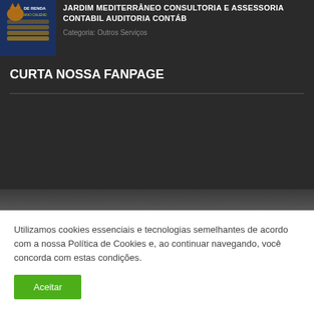[Figure (screenshot): Book/product image with dark blue background showing 'DE RENDA' and 'ANO CALEND' text partially visible]
JARDIM MEDITERRANEO CONSULTORIA E ASSESSORIA CONTABIL AUDITORIA CONTÁB
Categoria: Outros Serviços
CURTA NOSSA FANPAGE
Utilizamos cookies essenciais e tecnologias semelhantes de acordo com a nossa Política de Cookies e, ao continuar navegando, você concorda com estas condições.
Aceitar